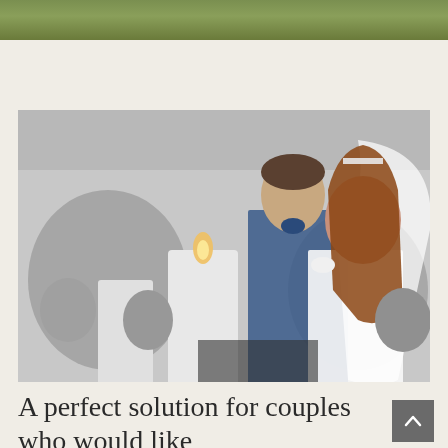[Figure (photo): Top strip showing green grass/foliage, cropped at the top of the page]
[Figure (photo): Black and white wedding photo with selective color — a bride with a white veil and groom in a blue suit stand before lit candles, surrounded by guests outdoors]
A perfect solution for couples who would like